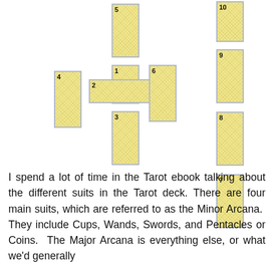[Figure (infographic): Celtic Cross tarot spread diagram showing 10 numbered card positions. Cards 1 and 2 form a cross in the center (1 vertical, 2 horizontal). Cards 3 (below), 4 (left), 5 (above), 6 (right) surround the center. Cards 7-10 form a vertical column on the right side.]
I spend a lot of time in the Tarot ebook talking about the different suits in the Tarot deck. There are four main suits, which are referred to as the Minor Arcana. They include Cups, Wands, Swords, and Pentacles or Coins. The Major Arcana is everything else, or what we'd generally